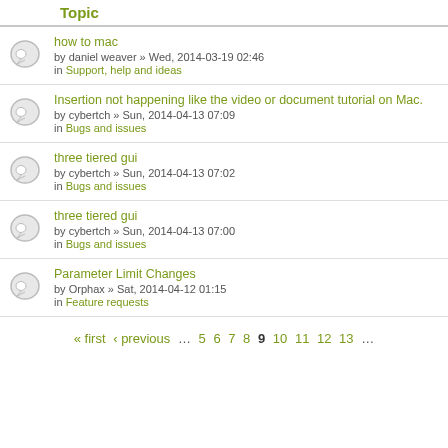Topic
how to mac
by daniel weaver » Wed, 2014-03-19 02:46
in Support, help and ideas
Insertion not happening like the video or document tutorial on Mac.
by cybertch » Sun, 2014-04-13 07:09
in Bugs and issues
three tiered gui
by cybertch » Sun, 2014-04-13 07:02
in Bugs and issues
three tiered gui
by cybertch » Sun, 2014-04-13 07:00
in Bugs and issues
Parameter Limit Changes
by Orphax » Sat, 2014-04-12 01:15
in Feature requests
« first ‹ previous … 5 6 7 8 9 10 11 12 13 …